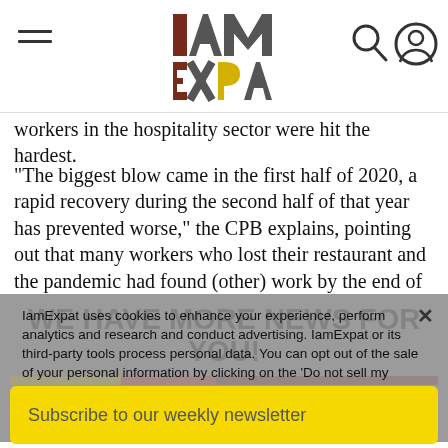IAmExpat logo with hamburger menu and search/user icons
workers in the hospitality sector were hit the hardest.
"The biggest blow came in the first half of 2020, a rapid recovery during the second half of that year has prevented worse," the CPB explains, pointing out that many workers who lost their restaurant and the pandemic had found (other) work by the end of the year.
IamExpat uses cookies to enhance your experience, perform analytics and research and conduct advertising. IamExpat or its third-party tools process personal data. You can opt out of the sale of your personal information by clicking on the 'Do not sell my personal information' link.
WE HAVE MORE NEWS FOR YOU!
Do not sell my personal information
OK
Subscribe to our weekly newsletter